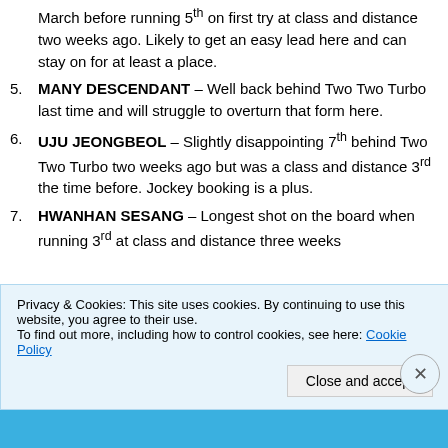March before running 5th on first try at class and distance two weeks ago. Likely to get an easy lead here and can stay on for at least a place.
5. MANY DESCENDANT – Well back behind Two Two Turbo last time and will struggle to overturn that form here.
6. UJU JEONGBEOL – Slightly disappointing 7th behind Two Two Turbo two weeks ago but was a class and distance 3rd the time before. Jockey booking is a plus.
7. HWANHAN SESANG – Longest shot on the board when running 3rd at class and distance three weeks
Privacy & Cookies: This site uses cookies. By continuing to use this website, you agree to their use.
To find out more, including how to control cookies, see here: Cookie Policy
Close and accept